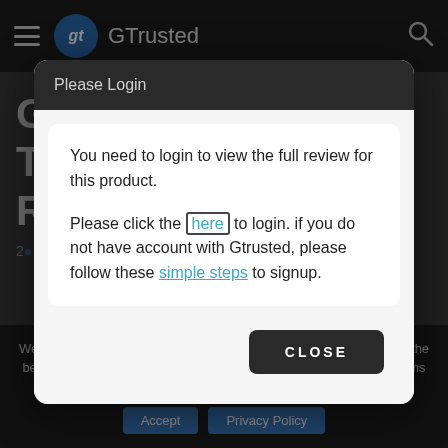GTrusted
Please Login
You need to login to view the full review for this product.
Please click the here to login. if you do not have account with Gtrusted, please follow these simple steps to signup.
CLOSE
We use cookies to improve our user experience in order to give you the best experience on our website. By continuing, you agree to our terms stated in our Privacy Policy.